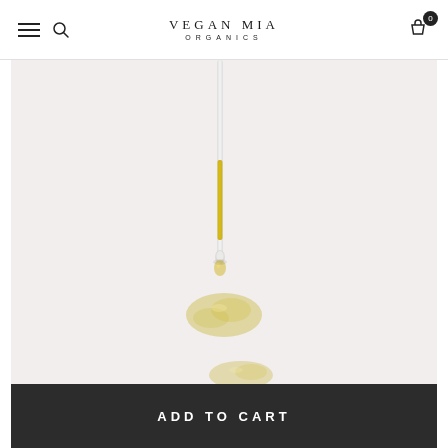VEGAN MIA ORGANICS
[Figure (photo): Close-up photo of a glass dropper pipette with golden/yellow oil, with drops of oil pooled below on a white surface]
ADD TO CART